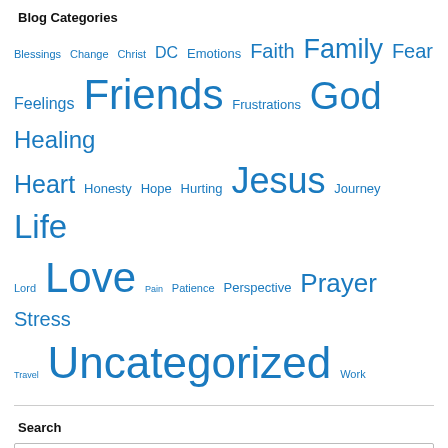Blog Categories
Blessings Change Christ DC Emotions Faith Family Fear Feelings Friends Frustrations God Healing Heart Honesty Hope Hurting Jesus Journey Life Lord Love Pain Patience Perspective Prayer Stress Travel Uncategorized Work
Search
Search